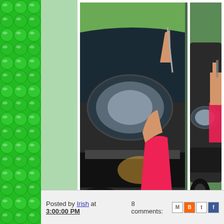[Figure (photo): Green clover/shamrock pattern decorative sidebar]
[Figure (photo): Photo of a person in red swimwear crouching near the front of a dark-colored car, outdoors]
Posted by Irish at 3:00:00 PM    8 comments: